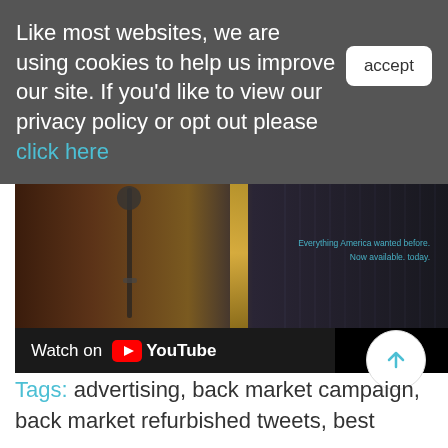Like most websites, we are using cookies to help us improve our site. If you'd like to view our privacy policy or opt out please click here
[Figure (screenshot): YouTube video embed showing a dark cinematic scene with text overlay 'Everything America wanted before. Now available. today.' and a 'Watch on YouTube' bar at the bottom.]
Tags: advertising, back market campaign, back market refurbished tweets, best